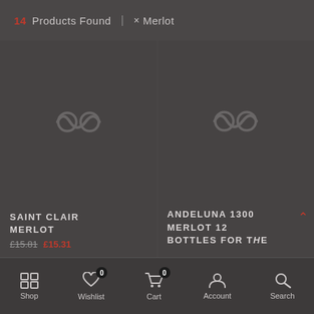14 Products Found | × Merlot
[Figure (screenshot): Product image placeholder for Saint Clair Merlot with infinity/loading icon]
SAINT CLAIR MERLOT
£15.81 £15.31
[Figure (screenshot): Product image placeholder for Andeluna 1300 Merlot with infinity/loading icon]
ANDELUNA 1300 MERLOT 12 BOTTLES FOR The
Shop | Wishlist 0 | Cart 0 | Account | Search